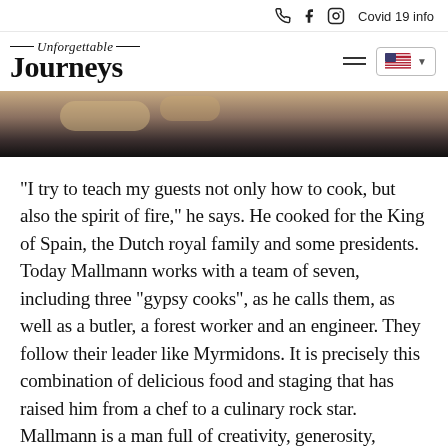☎ f ⊙ Covid 19 info
[Figure (logo): Unforgettable Journeys logo with cursive 'Unforgettable' above bold serif 'Journeys', with decorative lines flanking the cursive text. Navigation bar includes hamburger menu and US flag language selector.]
[Figure (photo): Partial photo strip showing blurred warm and dark tones, appears to be a food or fire cooking image cropped at the top.]
“I try to teach my guests not only how to cook, but also the spirit of fire,” he says. He cooked for the King of Spain, the Dutch royal family and some presidents. Today Mallmann works with a team of seven, including three “gypsy cooks”, as he calls them, as well as a butler, a forest worker and an engineer. They follow their leader like Myrmidons. It is precisely this combination of delicious food and staging that has raised him from a chef to a culinary rock star. Mallmann is a man full of creativity, generosity, confidence and